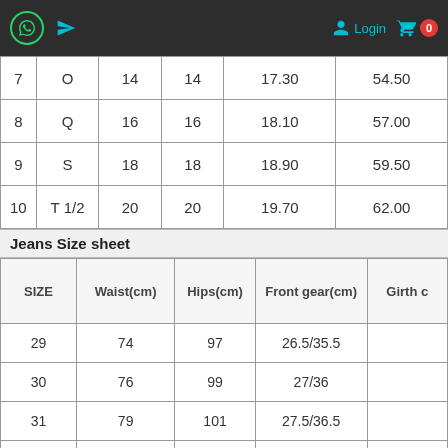Login | Cart 0
|  |  |  |  |  |  |
| --- | --- | --- | --- | --- | --- |
| 7 | O | 14 | 14 | 17.30 | 54.50 |
| 8 | Q | 16 | 16 | 18.10 | 57.00 |
| 9 | S | 18 | 18 | 18.90 | 59.50 |
| 10 | T 1/2 | 20 | 20 | 19.70 | 62.00 |
Jeans Size sheet
| SIZE | Waist(cm) | Hips(cm) | Front gear(cm) | Girth c |
| --- | --- | --- | --- | --- |
| 29 | 74 | 97 | 26.5/35.5 |  |
| 30 | 76 | 99 | 27/36 |  |
| 31 | 79 | 101 | 27.5/36.5 |  |
| 32 | 82 | 103 | 28/37 |  |
| 33 | 84 | 105 | 28.5/37.5 |  |
| 34 | 87 | 107 | 29/38 |  |
| 35 | 89 | 109 | 29.5/38.5 |  |
| 36 | 92 | 111 | 30/39 |  |
| 38 | 96 | 115 | 31/40 |  |
| 40 | 102 | 120 | 32/41 |  |